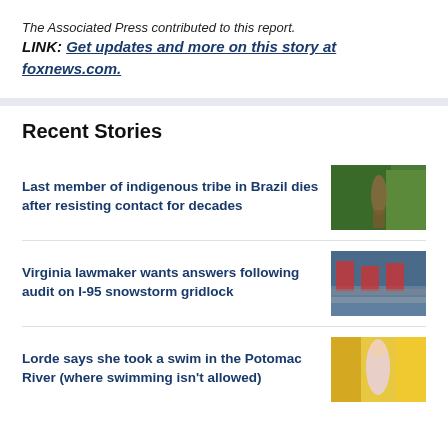The Associated Press contributed to this report.
LINK: Get updates and more on this story at foxnews.com.
Recent Stories
Last member of indigenous tribe in Brazil dies after resisting contact for decades
Virginia lawmaker wants answers following audit on I-95 snowstorm gridlock
Lorde says she took a swim in the Potomac River (where swimming isn't allowed)